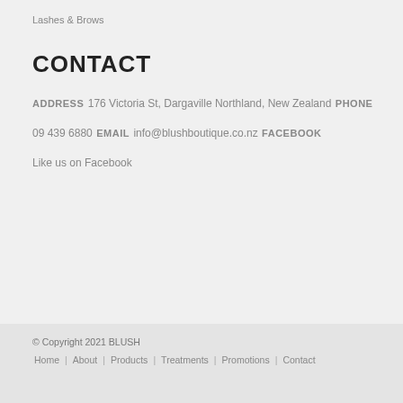Lashes & Brows
CONTACT
ADDRESS
176 Victoria St, Dargaville Northland, New Zealand
PHONE
09 439 6880
EMAIL
info@blushboutique.co.nz
FACEBOOK
Like us on Facebook
© Copyright 2021 BLUSH | Home | About | Products | Treatments | Promotions | Contact